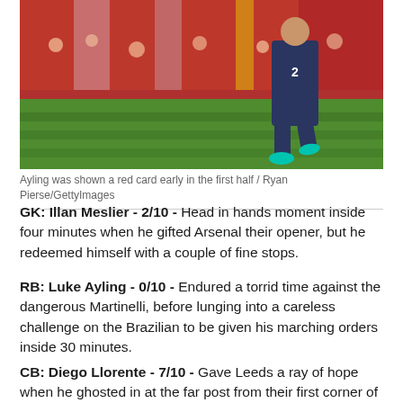[Figure (photo): A footballer in dark blue kit running on green pitch with crowd in red stadium background; player wearing teal/cyan boots]
Ayling was shown a red card early in the first half / Ryan Pierse/GettyImages
GK: Illan Meslier - 2/10 - Head in hands moment inside four minutes when he gifted Arsenal their opener, but he redeemed himself with a couple of fine stops.
RB: Luke Ayling - 0/10 - Endured a torrid time against the dangerous Martinelli, before lunging into a careless challenge on the Brazilian to be given his marching orders inside 30 minutes.
CB: Diego Llorente - 7/10 - Gave Leeds a ray of hope when he ghosted in at the far post from their first corner of the game